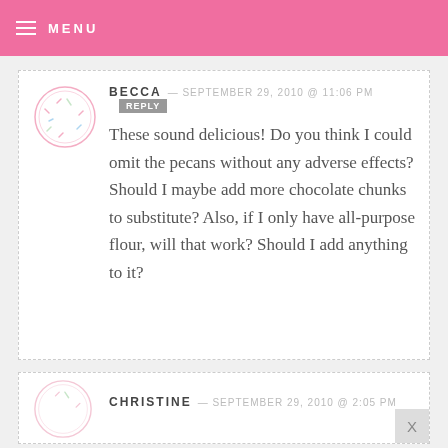MENU
BECCA — SEPTEMBER 29, 2010 @ 11:06 PM  REPLY
These sound delicious! Do you think I could omit the pecans without any adverse effects? Should I maybe add more chocolate chunks to substitute? Also, if I only have all-purpose flour, will that work? Should I add anything to it?
CHRISTINE — SEPTEMBER 29, 2010 @ 2:05 PM